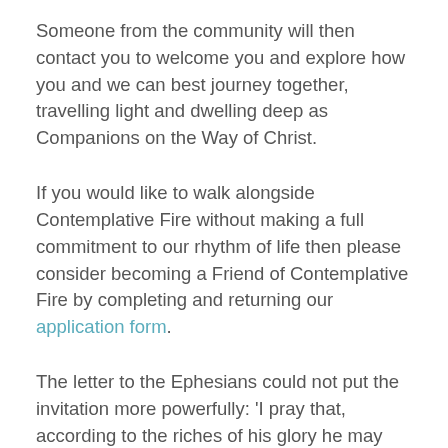Someone from the community will then contact you to welcome you and explore how you and we can best journey together, travelling light and dwelling deep as Companions on the Way of Christ.
If you would like to walk alongside Contemplative Fire without making a full commitment to our rhythm of life then please consider becoming a Friend of Contemplative Fire by completing and returning our application form.
The letter to the Ephesians could not put the invitation more powerfully: 'I pray that, according to the riches of his glory he may grant that you may be strengthened in your inner being with power through his Spirit, and that Christ may dwell in your hearts through faith, as you are being rooted and grounded in love. I pray that you may have the power to